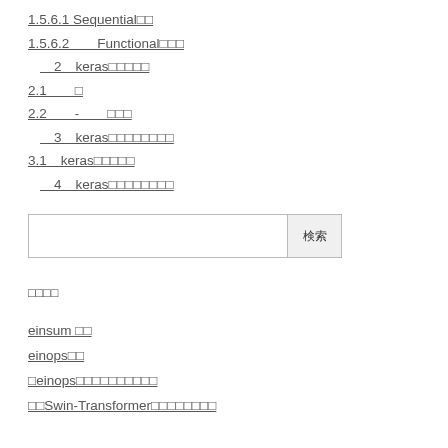1.5.6.1 Sequential□□
1.5.6.2　　Functional□□□
2　keras□□□□□
2.1　　□
2.2　　-　　□□□
3　keras□□□□□□□□
3.1　keras□□□□□
4　keras□□□□□□□□
□□
einsum □□
einops□□
□einops□□□□□□□□□□
□□Swin-Transformer□□□□□□□□